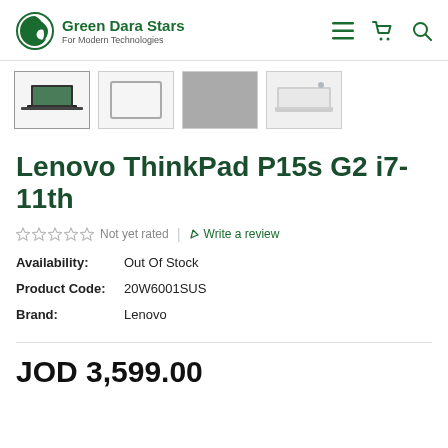Green Dara Stars – For Modern Technologies
[Figure (photo): Thumbnail images of Lenovo ThinkPad P15s G2 laptop from various angles: open laptop, closed lid top, grey surface/lid, and side/closed view]
Lenovo ThinkPad P15s G2 i7-11th
Not yet rated  |  Write a review
Availability: Out Of Stock
Product Code: 20W6001SUS
Brand: Lenovo
JOD 3,599.00